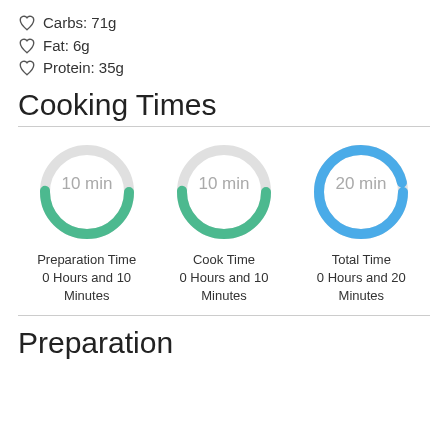Carbs: 71g
Fat: 6g
Protein: 35g
Cooking Times
[Figure (donut-chart): Preparation Time]
[Figure (donut-chart): Cook Time]
[Figure (donut-chart): Total Time]
Preparation Time
0 Hours and 10 Minutes
Cook Time
0 Hours and 10 Minutes
Total Time
0 Hours and 20 Minutes
Preparation